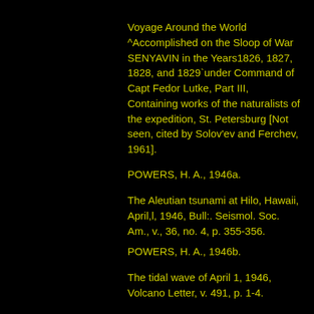Voyage Around the World ^Accomplished on the Sloop of War SENYAVIN in the Years1826, 1827, 1828, and 1829`under Command of Capt Fedor Lutke, Part III, Containing works of the naturalists of the expedition, St. Petersburg [Not seen, cited by Solov'ev and Ferchev, 1961].
POWERS, H. A., 1946a.
The Aleutian tsunami at Hilo, Hawaii, April,l, 1946, Bull:. Seismol. Soc. Am., v., 36, no. 4, p. 355-356.
POWERS, H. A., 1946b.
The tidal wave of April 1, 1946, Volcano Letter, v. 491, p. 1-4.